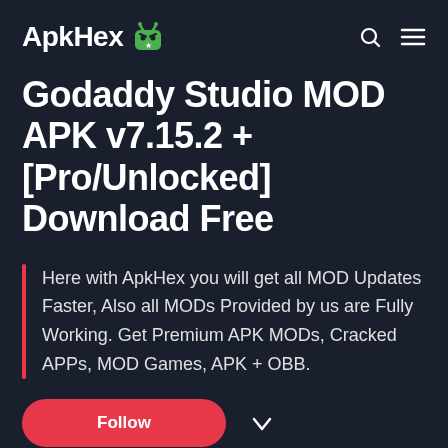ApkHex
Godaddy Studio MOD APK v7.15.2 + [Pro/Unlocked] Download Free
Here with ApkHex you will get all MOD Updates Faster, Also all MODs Provided by us are Fully Working. Get Premium APK MODs, Cracked APPs, MOD Games, APK + OBB.